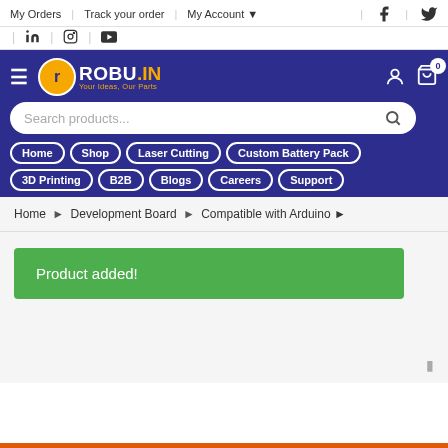My Orders | Track your order | My Account
LinkedIn | Instagram | YouTube
[Figure (logo): ROBU.IN logo with orange 'r' circle and tagline 'Your Ideas, Our Parts' on dark blue navigation bar]
Search products...
Home
Shop
Laser Cutting
Custom Battery Pack
3D Printing
B2B
Blogs
Careers
Support
Home > Development Board > Compatible with Arduino
Product added!